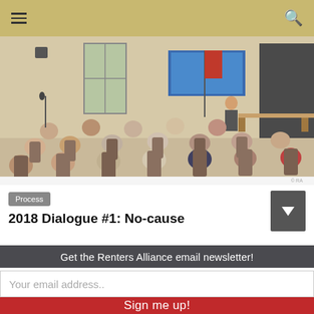Navigation bar with hamburger menu and search icon
[Figure (photo): People seated in chairs at a community meeting or dialogue event, facing a presenter standing near a screen/TV displaying a presentation. American flag visible. Church or community hall setting.]
Process
2018 Dialogue #1: No-cause
Get the Renters Alliance email newsletter!
Your email address..
Sign me up!